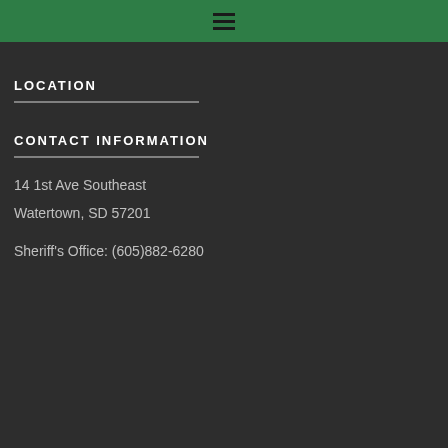☰
LOCATION
CONTACT INFORMATION
14 1st Ave Southeast
Watertown, SD 57201

Sheriff's Office: (605)882-6280